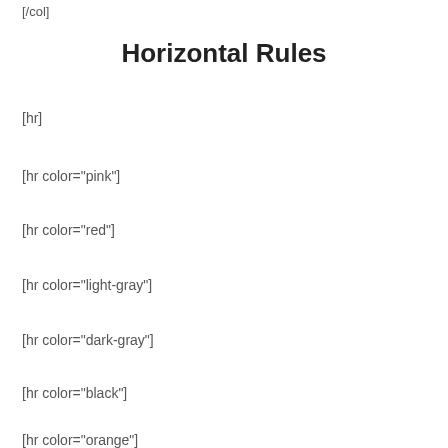[/col]
Horizontal Rules
[hr]
[hr color="pink"]
[hr color="red"]
[hr color="light-gray"]
[hr color="dark-gray"]
[hr color="black"]
[hr color="orange"]